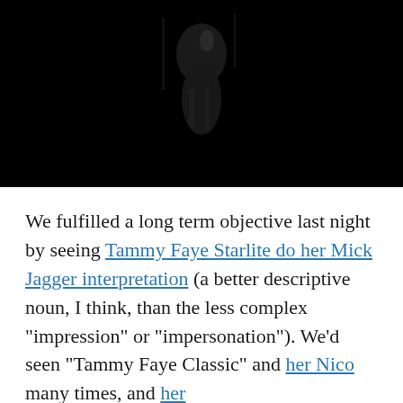[Figure (photo): Dark black and white photograph, mostly black with faint silhouette of a person visible in the center upper area]
We fulfilled a long term objective last night by seeing Tammy Faye Starlite do her Mick Jagger interpretation (a better descriptive noun, I think, than the less complex "impression" or "impersonation"). We'd seen "Tammy Faye Classic" and her Nico many times, and her